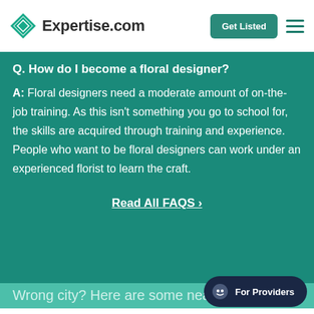Expertise.com
Q. How do I become a floral designer?
A: Floral designers need a moderate amount of on-the-job training. As this isn't something you go to school for, the skills are acquired through training and experience. People who want to be floral designers can work under an experienced florist to learn the craft.
Read All FAQS →
Wrong city? Here are some nearby places